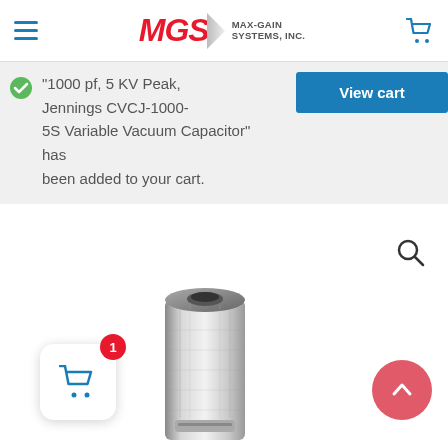MGS MAX-GAIN SYSTEMS, INC.
1000 pf, 5 KV Peak, Jennings CVCJ-1000-5S Variable Vacuum Capacitor" has been added to your cart.
[Figure (photo): Close-up photo of a silver hexagonal metal vacuum capacitor component]
[Figure (screenshot): Floating cart button with badge showing 1 item and scroll-to-top button]